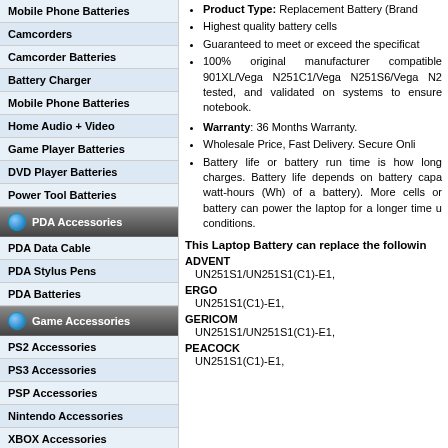Mobile Phone Batteries
Camcorders
Camcorder Batteries
Battery Charger
Mobile Phone Batteries
Home Audio + Video
Game Player Batteries
DVD Player Batteries
Power Tool Batteries
PDA Accessories
PDA Data Cable
PDA Stylus Pens
PDA Batteries
Game Accessories
PS2 Accessories
PS3 Accessories
PSP Accessories
Nintendo Accessories
XBOX Accessories
Product Type: Replacement Battery (Brand...) Highest quality battery cells. Guaranteed to meet or exceed the specificat... 100% original manufacturer compatible 901XL/Vega N251C1/Vega N251S6/Vega N2... tested, and validated on systems to ensure notebook.
Warranty: 36 Months Warranty.
Wholesale Price, Fast Delivery. Secure Onli...
Battery life or battery run time is how long charges. Battery life depends on battery capa... watt-hours (Wh) of a battery). More cells or battery can power the laptop for a longer time u... conditions.
This Laptop Battery can replace the followin...
ADVENT
UN251S1/UN251S1(C1)-E1,
ERGO
UN251S1(C1)-E1,
GERICOM
UN251S1/UN251S1(C1)-E1,
PEACOCK
UN251S1(C1)-E1,